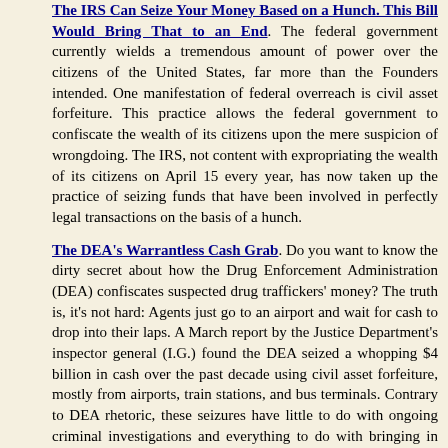The IRS Can Seize Your Money Based on a Hunch. This Bill Would Bring That to an End. The federal government currently wields a tremendous amount of power over the citizens of the United States, far more than the Founders intended. One manifestation of federal overreach is civil asset forfeiture. This practice allows the federal government to confiscate the wealth of its citizens upon the mere suspicion of wrongdoing. The IRS, not content with expropriating the wealth of its citizens on April 15 every year, has now taken up the practice of seizing funds that have been involved in perfectly legal transactions on the basis of a hunch.
The DEA's Warrantless Cash Grab. Do you want to know the dirty secret about how the Drug Enforcement Administration (DEA) confiscates suspected drug traffickers' money? The truth is, it's not hard: Agents just go to an airport and wait for cash to drop into their laps. A March report by the Justice Department's inspector general (I.G.) found the DEA seized a whopping $4 billion in cash over the past decade using civil asset forfeiture, mostly from airports, train stations, and bus terminals. Contrary to DEA rhetoric, these seizures have little to do with ongoing criminal investigations and everything to do with bringing in money. In 81 percent of the cases the I.G. reviewed, there were no accompanying criminal charges.
Meet the Texas Lawmaker Fighting Trump on Civil Asset Forfeiture. When the White House hosted a meeting of sheriffs from across the country last February, President Donald Trump joked about destroying the career of a Texas state senator who supported reforms to civil asset forfeiture laws — a controversial practice where police can seize cash and property of people suspected — but in most cases never convicted or charged with a crime. Though Trump's comments were meant to support police, they've had the opposite of their intended impact — it's